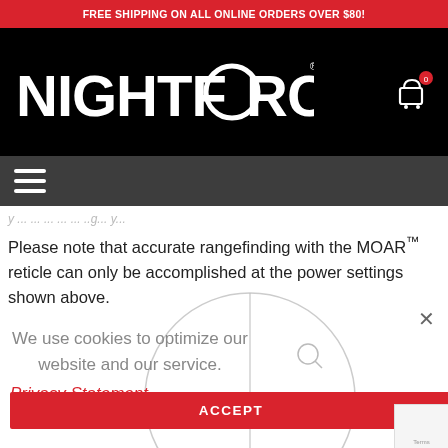FREE SHIPPING ON ALL ONLINE ORDERS OVER $80!
[Figure (logo): Nightforce logo in white bold text on black background with shopping cart icon showing badge '0']
[Figure (other): Dark gray navigation bar with hamburger menu icon (three horizontal lines)]
Please note that accurate rangefinding with the MOAR™ reticle can only be accomplished at the power settings shown above.
[Figure (illustration): Cookie consent dialog popup with close X button, text 'We use cookies to optimize our website and our service.' with 'Privacy Statement' link in red and red ACCEPT button. Background shows a circular reticle scope diagram.]
We use cookies to optimize our website and our service.
Privacy Statement
ACCEPT